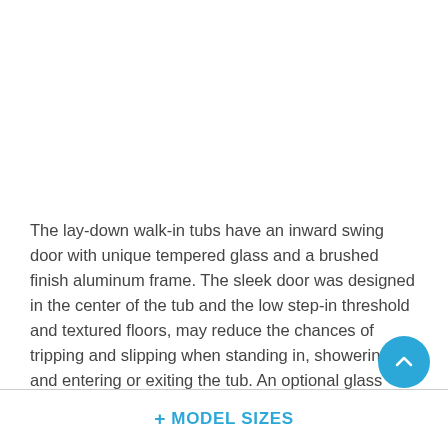The lay-down walk-in tubs have an inward swing door with unique tempered glass and a brushed finish aluminum frame. The sleek door was designed in the center of the tub and the low step-in threshold and textured floors, may reduce the chances of tripping and slipping when standing in, showering, and entering or exiting the tub. An optional glass shower screen is available to make your tub more shower-like.
+ MODEL SIZES